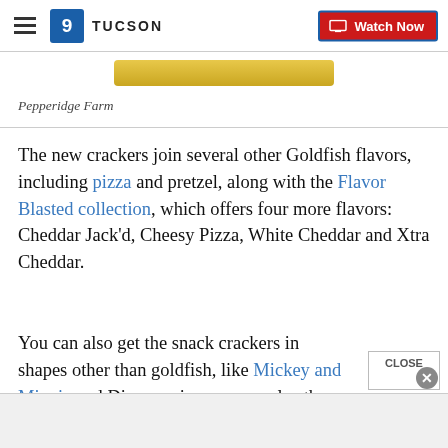9 TUCSON — Watch Now
[Figure (other): Gold pill/banner graphic at top of content area]
Pepperidge Farm
The new crackers join several other Goldfish flavors, including pizza and pretzel, along with the Flavor Blasted collection, which offers four more flavors: Cheddar Jack'd, Cheesy Pizza, White Cheddar and Xtra Cheddar.
You can also get the snack crackers in shapes other than goldfish, like Mickey and Minnie and Disney princesses — plus there is an entire line of sweet